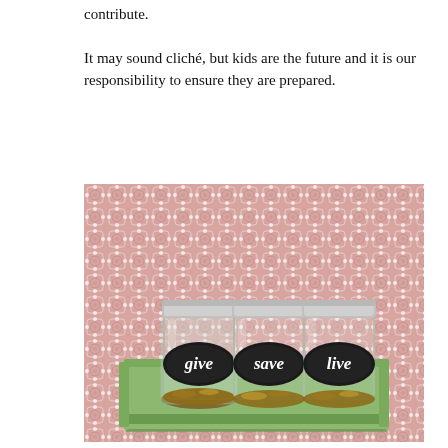contribute.
It may sound cliché, but kids are the future and it is our responsibility to ensure they are prepared.
[Figure (photo): Three glass mason jars with silver lids sitting in a green wooden tray, each labeled with a chalkboard sign: 'give', 'save', 'live'. The jars contain coins. The background features a pink patterned wallpaper with white floral motifs.]